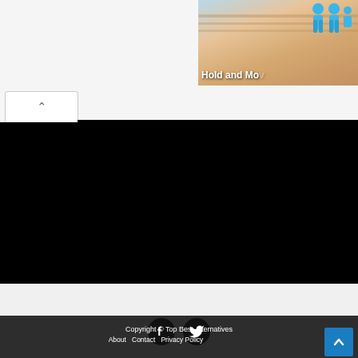[Figure (screenshot): Partial thumbnail image showing 'Hold and Mo...' text with cartoon blue figures on a sandy/beige background, cropped at top right of page]
[Figure (screenshot): Tab/accordion expand button with upward caret (^) symbol, white background with border]
[Figure (screenshot): Large black video player area]
Copyright © Top Best Alternatives  About  Contact  Privacy Policy